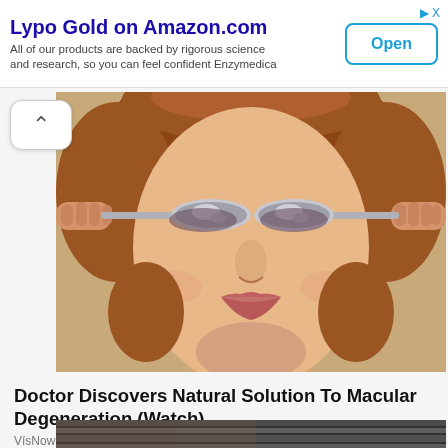Lypo Gold on Amazon.com — All of our products are backed by rigorous science and research, so you can feel confident Enzymedica — Open
[Figure (photo): Woman with two spoons held over her eyes, smiling, on a beige background — editorial photo related to eye health / macular degeneration article]
Doctor Discovers Natural Solution To Macular Degeneration (Watch)
VísNow
[Figure (photo): Partial bottom image showing striped/blurred close-up, second article thumbnail]